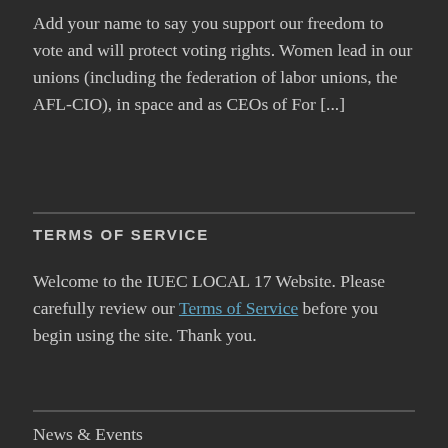Add your name to say you support our freedom to vote and will protect voting rights. Women lead in our unions (including the federation of labor unions, the AFL-CIO), in space and as CEOs of For [...]
TERMS OF SERVICE
Welcome to the IUEC LOCAL 17 Website. Please carefully review our Terms of Service before you begin using the site. Thank you.
News & Events